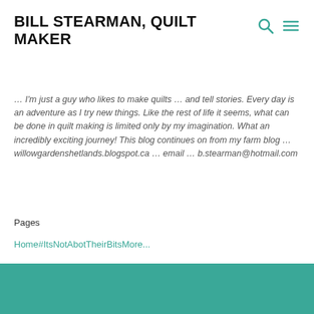BILL STEARMAN, QUILT MAKER
… I'm just a guy who likes to make quilts … and tell stories. Every day is an adventure as I try new things. Like the rest of life it seems, what can be done in quilt making is limited only by my imagination. What an incredibly exciting journey! This blog continues on from my farm blog … willowgardenshetlands.blogspot.ca … email … b.stearman@hotmail.com
Pages
Home
#ItsNotAbotTheirBits
More...